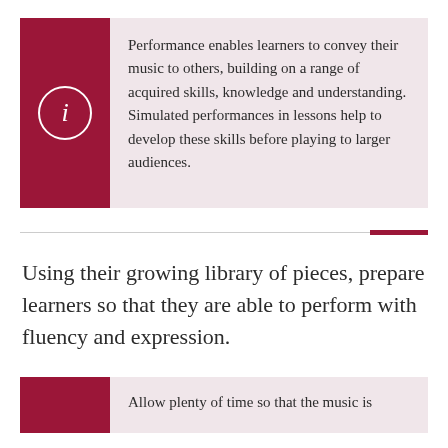Performance enables learners to convey their music to others, building on a range of acquired skills, knowledge and understanding. Simulated performances in lessons help to develop these skills before playing to larger audiences.
Using their growing library of pieces, prepare learners so that they are able to perform with fluency and expression.
Allow plenty of time so that the music is